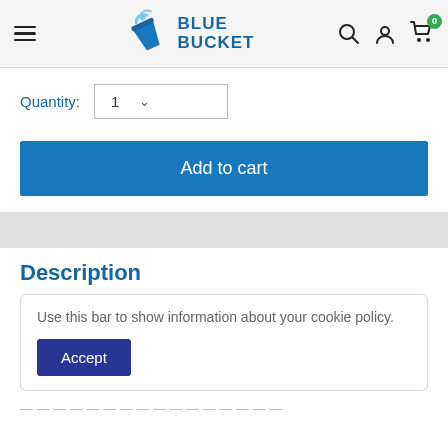Blue Bucket — navigation header with logo, search, account, and cart icons
Quantity: 1
Add to cart
Description
Use this bar to show information about your cookie policy.
Accept